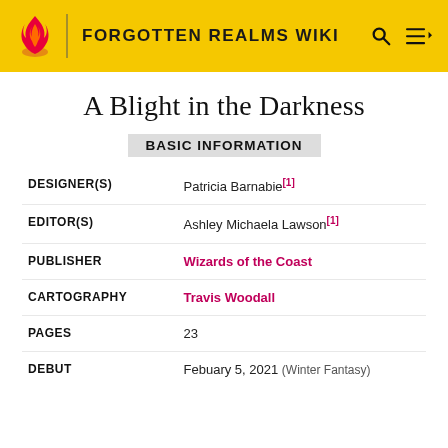FORGOTTEN REALMS WIKI
A Blight in the Darkness
BASIC INFORMATION
| Field | Value |
| --- | --- |
| DESIGNER(S) | Patricia Barnabie[1] |
| EDITOR(S) | Ashley Michaela Lawson[1] |
| PUBLISHER | Wizards of the Coast |
| CARTOGRAPHY | Travis Woodall |
| PAGES | 23 |
| DEBUT | Febuary 5, 2021 (Winter Fantasy) |